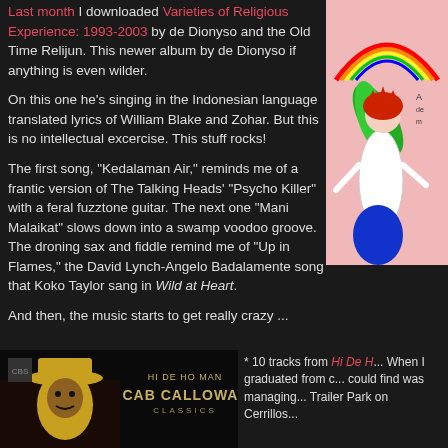Last month I downloaded Varieties of Religious Experience: 1993-2003 by de Dionyso and the Old Time Relijun. This newer album by de Dionyso if anything is even wilder.
On this one he's singing in the Indonesian language translated lyrics of William Blake and Zohar. But this is no intellectual excercise. This stuff rocks!
The first song, "Kedalaman Air," reminds me of a frantic version of The Talking Heads' "Psycho Killer" with a feral fuzztone guitar. The next one "Mani Malaikat" slows down into a swamp voodoo groove. The droning sax and fiddle remind me of "Up in Flames," the David Lynch-Angelo Badalamente song that Koko Taylor sang in Wild at Heart.
And then, the music starts to get really crazy ...
[Figure (photo): Album cover art showing a winged figure with a rainbow and a crown, drawn in a naive art style on pink background]
[Figure (photo): Hi De Ho Man - Cab Calloway Classics album cover, showing Cab Calloway in a yellow hat against a dark background]
* 10 tracks from Hi De H... When I graduated from c... could find was managing... Trailer Park on Cerrillos...